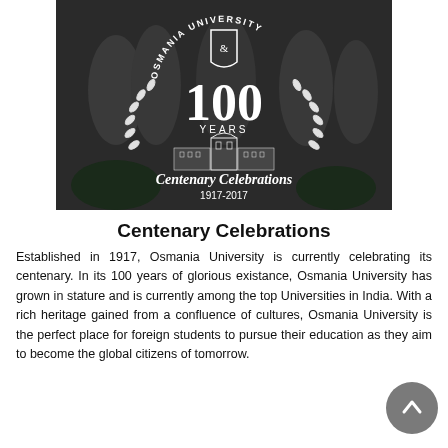[Figure (photo): Osmania University Centenary Celebrations banner image showing people in a dark overlaid photo with a white emblem featuring '100 YEARS', laurel wreaths, a university building illustration, 'Centenary Celebrations' and '1917-2017' text.]
Centenary Celebrations
Established in 1917, Osmania University is currently celebrating its centenary. In its 100 years of glorious existance, Osmania University has grown in stature and is currently among the top Universities in India. With a rich heritage gained from a confluence of cultures, Osmania University is the perfect place for foreign students to pursue their education as they aim to become the global citizens of tomorrow.